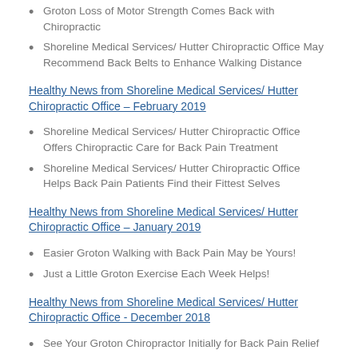Groton Loss of Motor Strength Comes Back with Chiropractic
Shoreline Medical Services/ Hutter Chiropractic Office May Recommend Back Belts to Enhance Walking Distance
Healthy News from Shoreline Medical Services/ Hutter Chiropractic Office – February 2019
Shoreline Medical Services/ Hutter Chiropractic Office Offers Chiropractic Care for Back Pain Treatment
Shoreline Medical Services/ Hutter Chiropractic Office Helps Back Pain Patients Find their Fittest Selves
Healthy News from Shoreline Medical Services/ Hutter Chiropractic Office – January 2019
Easier Groton Walking with Back Pain May be Yours!
Just a Little Groton Exercise Each Week Helps!
Healthy News from Shoreline Medical Services/ Hutter Chiropractic Office - December 2018
See Your Groton Chiropractor Initially for Back Pain Relief